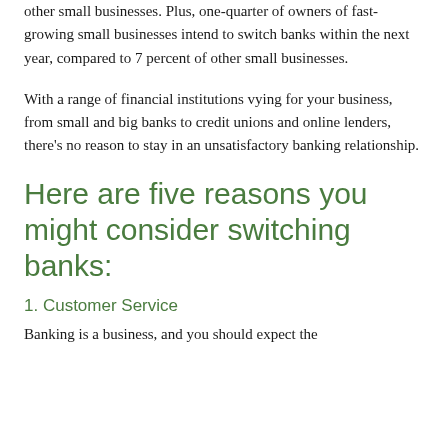other small businesses. Plus, one-quarter of owners of fast-growing small businesses intend to switch banks within the next year, compared to 7 percent of other small businesses.
With a range of financial institutions vying for your business, from small and big banks to credit unions and online lenders, there’s no reason to stay in an unsatisfactory banking relationship.
Here are five reasons you might consider switching banks:
1. Customer Service
Banking is a business, and you should expect the